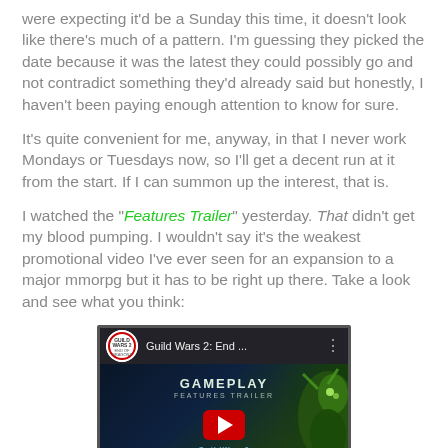were expecting it'd be a Sunday this time, it doesn't look like there's much of a pattern. I'm guessing they picked the date because it was the latest they could possibly go and not contradict something they'd already said but honestly, I haven't been paying enough attention to know for sure.
It's quite convenient for me, anyway, in that I never work Mondays or Tuesdays now, so I'll get a decent run at it from the start. If I can summon up the interest, that is.
I watched the "Features Trailer" yesterday. That didn't get my blood pumping. I wouldn't say it's the weakest promotional video I've ever seen for an expansion to a major mmorpg but it has to be right up there. Take a look and see what you think:
[Figure (screenshot): Embedded YouTube video thumbnail showing Guild Wars 2: End of Dragons Gameplay Features Trailer. Dark gaming scene with creature on right side, red play button in center, GAMEPLAY FEATURES TRAILER text overlay, GuildWars2 logo at bottom.]